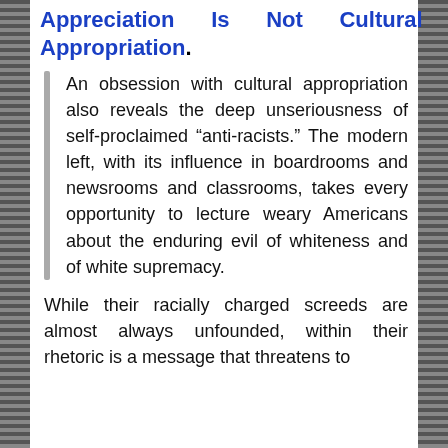Appreciation Is Not Cultural Appropriation.
An obsession with cultural appropriation also reveals the deep unseriousness of self-proclaimed “anti-racists.” The modern left, with its influence in boardrooms and newsrooms and classrooms, takes every opportunity to lecture weary Americans about the enduring evil of whiteness and of white supremacy.
While their racially charged screeds are almost always unfounded, within their rhetoric is a message that threatens to